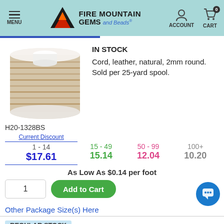MENU | FIRE MOUNTAIN GEMS and Beads | ACCOUNT | CART 0
[Figure (photo): Spool of natural tan/beige leather cord, 2mm round, on a white plastic spool]
IN STOCK
Cord, leather, natural, 2mm round. Sold per 25-yard spool.
H20-1328BS
| Current Discount | 15 - 49 | 50 - 99 | 100+ |
| --- | --- | --- | --- |
| 1 - 14 | 15 - 49 | 50 - 99 | 100+ |
| $17.61 | 15.14 | 12.04 | 10.20 |
As Low As $0.14 per foot
1
Add to Cart
Other Package Size(s) Here
REGULAR STOCK
IN STOCK